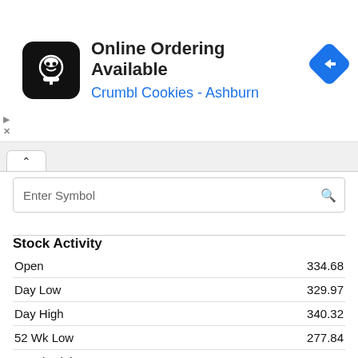[Figure (other): Advertisement banner: Online Ordering Available - Crumbl Cookies - Ashburn, with chef icon and blue navigation arrow]
Enter Symbol
Stock Activity
| Metric | Value |
| --- | --- |
| Open | 334.68 |
| Day Low | 329.97 |
| Day High | 340.32 |
| 52 Wk Low | 277.84 |
| 52 Wk High | 426.16 |
| Avg. Volume | 1,836,035 |
| Market Cap | 113.15 B |
| Dividend | 10.00 ( 3.02%) |
| Beta | 1.36 |